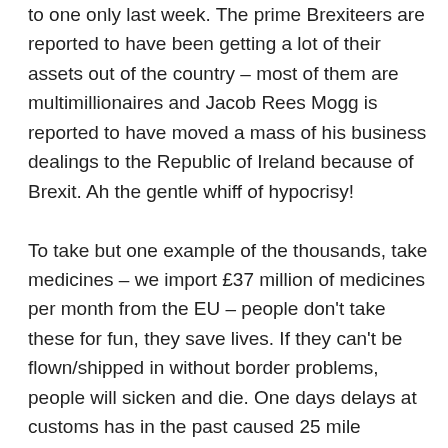to one only last week. The prime Brexiteers are reported to have been getting a lot of their assets out of the country – most of them are multimillionaires and Jacob Rees Mogg is reported to have moved a mass of his business dealings to the Republic of Ireland because of Brexit. Ah the gentle whiff of hypocrisy!

To take but one example of the thousands, take medicines – we import £37 million of medicines per month from the EU – people don't take these for fun, they save lives. If they can't be flown/shipped in without border problems, people will sicken and die. One days delays at customs has in the past caused 25 mile tailbacks – that is just for one day, imagine how vast and all encompassing the lorry parks will be if there